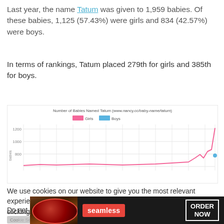Last year, the name Tatum was given to 1,959 babies. Of these babies, 1,125 (57.43%) were girls and 834 (42.57%) were boys.
In terms of rankings, Tatum placed 279th for girls and 385th for boys.
[Figure (line-chart): Line chart showing number of babies named Tatum over years, with Girls (pink) and Boys (blue) lines. Girls line rises sharply at recent years, reaching around 1125. Boys line is visible near 800 range recently.]
We use cookies on our website to give you the most relevant experience by remembering your preferences and repeat visits. By clicking “Accept”, you consent to the use of ALL the cookies.
Do not sell my personal information.
[Figure (screenshot): Cookie settings row with gray button, green accept button, and CLOSE button. Below is a Seamless food delivery advertisement with ORDER NOW button.]